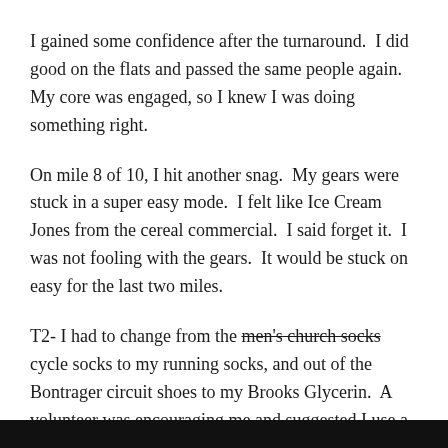I gained some confidence after the turnaround.  I did good on the flats and passed the same people again.  My core was engaged, so I knew I was doing something right.
On mile 8 of 10, I hit another snag.  My gears were stuck in a super easy mode.  I felt like Ice Cream Jones from the cereal commercial.  I said forget it.  I was not fooling with the gears.  It would be stuck on easy for the last two miles.
T2- I had to change from the men's church socks [strikethrough] cycle socks to my running socks, and out of the Bontrager circuit shoes to my Brooks Glycerin.  A volunteer was encouraging me and suggested I use a bucket to sit on next time.  I also got a compliment on matching my gear with my bike which was VERY intentional.
[Figure (photo): Black bar at the bottom of the page, appears to be the top edge of a photograph cropped at the page boundary.]